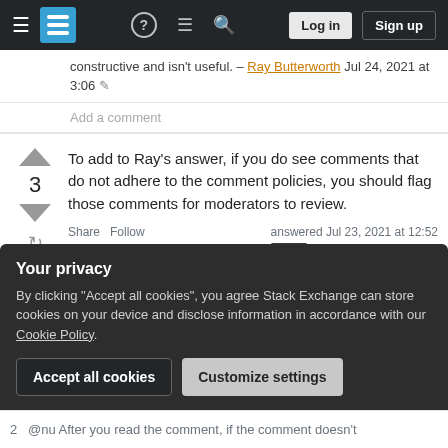Stack Exchange — Log in / Sign up navigation header
constructive and isn't useful. – Ray Butterworth Jul 24, 2021 at 3:06
Add a comment
To add to Ray's answer, if you do see comments that do not adhere to the comment policies, you should flag those comments for moderators to review.
Share  Follow    answered Jul 23, 2021 at 12:52   BioPhysicist  53.8k ●1 ●14 ●38
Your privacy
By clicking "Accept all cookies", you agree Stack Exchange can store cookies on your device and disclose information in accordance with our Cookie Policy.
Accept all cookies   Customize settings
2  @nu After you read the comment, if the comment doesn't